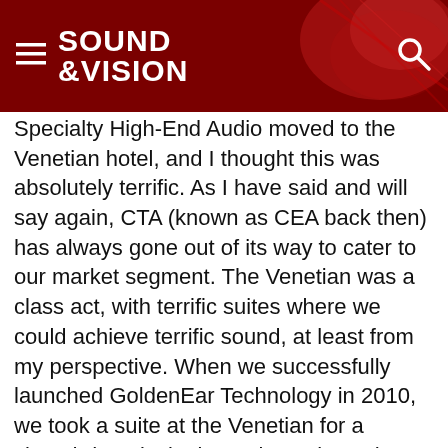SOUND &VISION
Specialty High-End Audio moved to the Venetian hotel, and I thought this was absolutely terrific. As I have said and will say again, CTA (known as CEA back then) has always gone out of its way to cater to our market segment. The Venetian was a class act, with terrific suites where we could achieve terrific sound, at least from my perspective. When we successfully launched GoldenEar Technology in 2010, we took a suite at the Venetian for a closed-door, invitation-only peek at what we were thinking of doing. Response was fantastic, and the following year we were back at the Venetian, amps glowing and speakers singing sweetly. Similar to when we launched Polk, dealers and distributors instantly